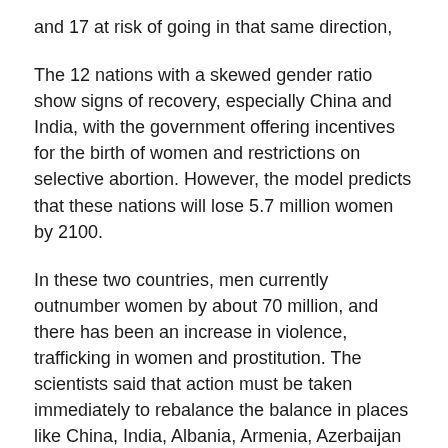and 17 at risk of going in that same direction,
The 12 nations with a skewed gender ratio show signs of recovery, especially China and India, with the government offering incentives for the birth of women and restrictions on selective abortion. However, the model predicts that these nations will lose 5.7 million women by 2100.
In these two countries, men currently outnumber women by about 70 million, and there has been an increase in violence, trafficking in women and prostitution. The scientists said that action must be taken immediately to rebalance the balance in places like China, India, Albania, Armenia, Azerbaijan and Vietnam.
If other countries with preference for children instead of daughters – like Nigeria, Pakistan, Egypt, Tanzania and